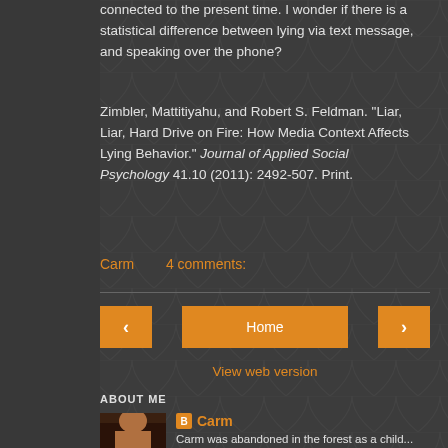connected to the present time. I wonder if there is a statistical difference between lying via text message, and speaking over the phone?
Zimbler, Mattitiyahu, and Robert S. Feldman. "Liar, Liar, Hard Drive on Fire: How Media Context Affects Lying Behavior." Journal of Applied Social Psychology 41.10 (2011): 2492-507. Print.
Carm   4 comments:
View web version
ABOUT ME
Carm
Carm was abandoned in the forest as a child...